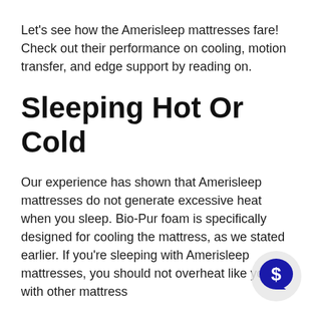Let's see how the Amerisleep mattresses fare! Check out their performance on cooling, motion transfer, and edge support by reading on.
Sleeping Hot Or Cold
Our experience has shown that Amerisleep mattresses do not generate excessive heat when you sleep. Bio-Pur foam is specifically designed for cooling the mattress, as we stated earlier. If you're sleeping with Amerisleep mattresses, you should not overheat like you do with other mattress
Mattresses made of latex and coils will h you stay cool at night if you have a major
[Figure (other): A circular chat bubble icon with a dollar sign symbol inside, in blue/navy color, positioned in the bottom-right corner of the page.]